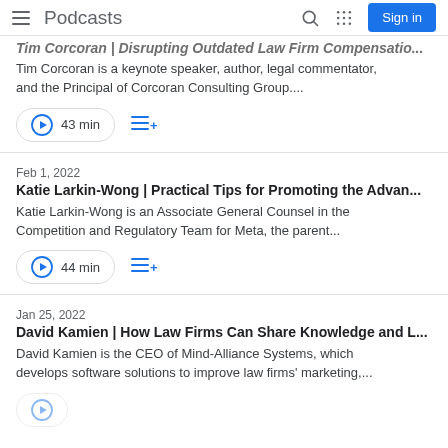Podcasts | Search | Sign in
Tim Corcoran | Disrupting Outdated Law Firm Compensatio...
Tim Corcoran is a keynote speaker, author, legal commentator, and the Principal of Corcoran Consulting Group....
43 min
Feb 1, 2022
Katie Larkin-Wong | Practical Tips for Promoting the Advan...
Katie Larkin-Wong is an Associate General Counsel in the Competition and Regulatory Team for Meta, the parent...
44 min
Jan 25, 2022
David Kamien | How Law Firms Can Share Knowledge and L...
David Kamien is the CEO of Mind-Alliance Systems, which develops software solutions to improve law firms' marketing,...